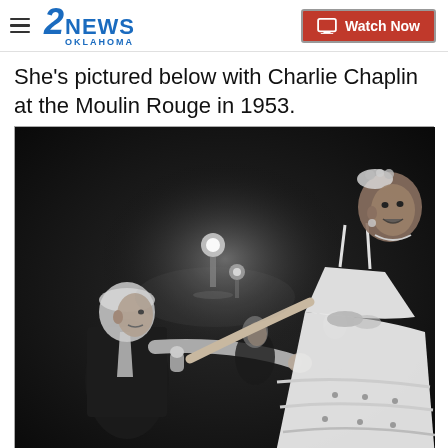2NEWS OKLAHOMA | Watch Now
She's pictured below with Charlie Chaplin at the Moulin Rouge in 1953.
[Figure (photo): Black and white photograph of a woman in a white ruffled dress holding a microphone and reaching out to shake hands with an older man (Charlie Chaplin) seated at left, with other people visible in the background. Taken at the Moulin Rouge in 1953.]
AP Photo